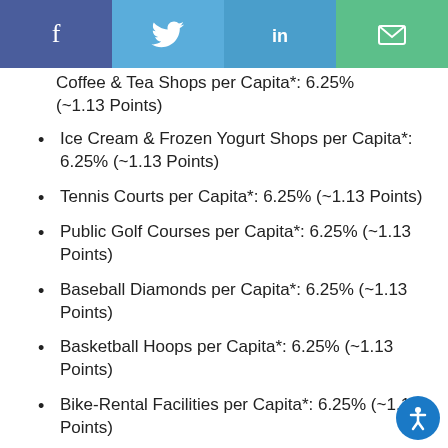Social share bar with Facebook, Twitter, LinkedIn, Email buttons
Coffee & Tea Shops per Capita*: 6.25% (~1.13 Points)
Ice Cream & Frozen Yogurt Shops per Capita*: 6.25% (~1.13 Points)
Tennis Courts per Capita*: 6.25% (~1.13 Points)
Public Golf Courses per Capita*: 6.25% (~1.13 Points)
Baseball Diamonds per Capita*: 6.25% (~1.13 Points)
Basketball Hoops per Capita*: 6.25% (~1.13 Points)
Bike-Rental Facilities per Capita*: 6.25% (~1.13 Points)
Food Festivals per Capita*: 6.25% (~1.13 Points)